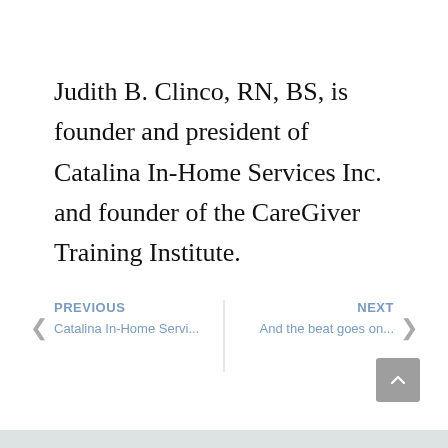Judith B. Clinco, RN, BS, is founder and president of Catalina In-Home Services Inc. and founder of the CareGiver Training Institute.
PREVIOUS | Catalina In-Home Servi... | NEXT | And the beat goes on...